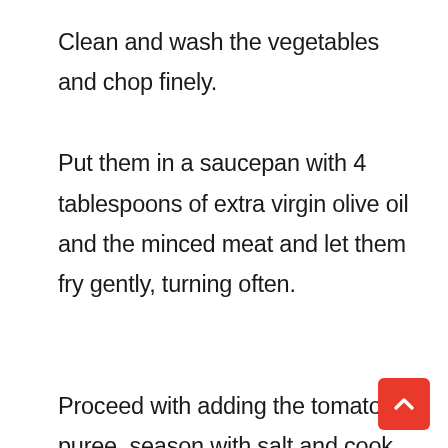Clean and wash the vegetables and chop finely. Put them in a saucepan with 4 tablespoons of extra virgin olive oil and the minced meat and let them fry gently, turning often.

Proceed with adding the tomato puree, season with salt and cook covered over low heat for about 2 hours, being careful that it does not dry too much and does not stick to the bottom. If necessary, add a few tablespoons of lukewarm water or broth. After about 2 hours your mea